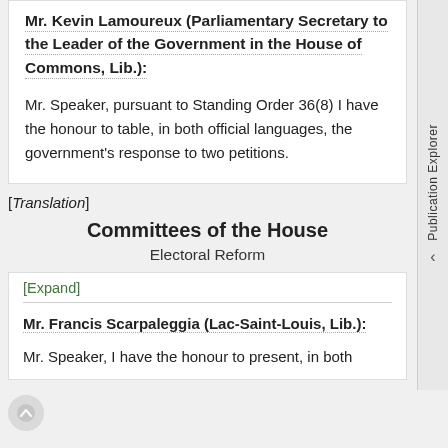Mr. Kevin Lamoureux (Parliamentary Secretary to the Leader of the Government in the House of Commons, Lib.):
Mr. Speaker, pursuant to Standing Order 36(8) I have the honour to table, in both official languages, the government's response to two petitions.
[Translation]
Committees of the House
Electoral Reform
[Expand]
Mr. Francis Scarpaleggia (Lac-Saint-Louis, Lib.):
Mr. Speaker, I have the honour to present, in both